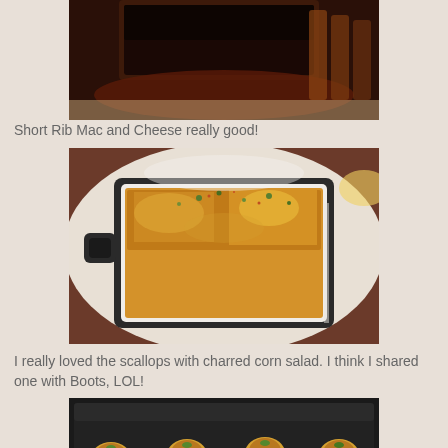[Figure (photo): Close-up photo of a dark meat dish (short rib) with sauce and sides, partially cropped at top]
Short Rib Mac and Cheese really good!
[Figure (photo): Photo of Short Rib Mac and Cheese in a black baking dish with golden browned cheese topping and green herb garnish]
I really loved the scallops with charred corn salad. I think I shared one with Boots, LOL!
[Figure (photo): Photo of seared scallops with charred corn salad served on a dark rectangular plate, showing four scallops in a row]